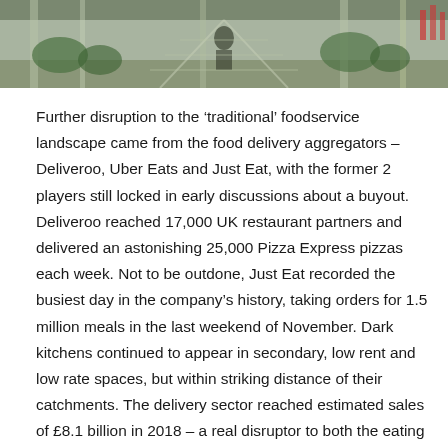[Figure (photo): Photograph of an indoor foodservice or food court environment, showing people and greenery in a modern space.]
Further disruption to the ‘traditional’ foodservice landscape came from the food delivery aggregators – Deliveroo, Uber Eats and Just Eat, with the former 2 players still locked in early discussions about a buyout. Deliveroo reached 17,000 UK restaurant partners and delivered an astonishing 25,000 Pizza Express pizzas each week. Not to be outdone, Just Eat recorded the busiest day in the company’s history, taking orders for 1.5 million meals in the last weekend of November. Dark kitchens continued to appear in secondary, low rent and low rate spaces, but within striking distance of their catchments. The delivery sector reached estimated sales of £8.1 billion in 2018 – a real disruptor to both the eating out market and the ‘cook at home’ market. Perhaps in recognition of this, Asda expanded its trial of a pizza delivery service in partnership with Just Eat, whilst at the other end of the scale, Sainsbury’s launched its first Food Court in its